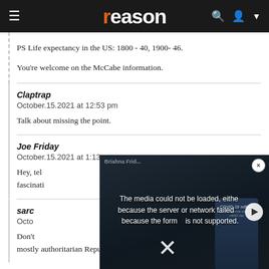reason
PS Life expectancy in the US: 1800 - 40, 1900- 46.

You're welcome on the McCabe information.
Claptrap
October.15.2021 at 12:53 pm

Talk about missing the point.
Joe Friday
October.15.2021 at 1:13 pm

Hey, tel[...] convers[...] means e[...] fascinati[...]
[Figure (screenshot): Video player overlay showing error message: The media could not be loaded, either because the server or network failed or because the format is not supported. Shows an X button to close and a play button. Background shows a dark image of a COVID-19 mRNA vaccine bottle.]
sarc[...]
Octo[...]

Don't[...] mostly authoritarian Republicans who are here only to